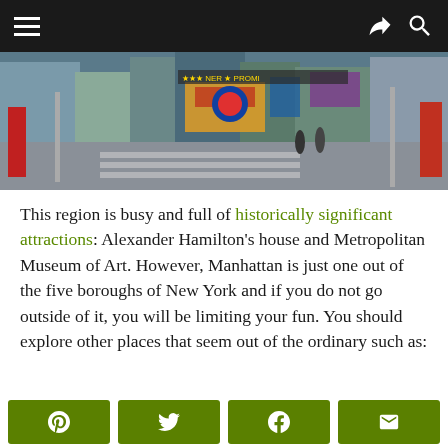Navigation bar with hamburger menu, share and search icons
[Figure (photo): Wide panoramic street photo of a busy New York City intersection with crosswalk, storefronts, signs, and pedestrians]
This region is busy and full of historically significant attractions: Alexander Hamilton’s house and Metropolitan Museum of Art. However, Manhattan is just one out of the five boroughs of New York and if you do not go outside of it, you will be limiting your fun. You should explore other places that seem out of the ordinary such as:
·
Share buttons: Pinterest, Twitter, Facebook, Email